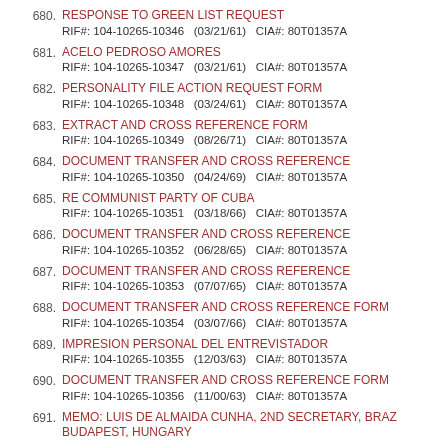680. RESPONSE TO GREEN LIST REQUEST
RIF#: 104-10265-10346   (03/21/61)   CIA#: 80T01357A
681. ACELO PEDROSO AMORES
RIF#: 104-10265-10347   (03/21/61)   CIA#: 80T01357A
682. PERSONALITY FILE ACTION REQUEST FORM
RIF#: 104-10265-10348   (03/24/61)   CIA#: 80T01357A
683. EXTRACT AND CROSS REFERENCE FORM
RIF#: 104-10265-10349   (08/26/71)   CIA#: 80T01357A
684. DOCUMENT TRANSFER AND CROSS REFERENCE
RIF#: 104-10265-10350   (04/24/69)   CIA#: 80T01357A
685. RE COMMUNIST PARTY OF CUBA
RIF#: 104-10265-10351   (03/18/66)   CIA#: 80T01357A
686. DOCUMENT TRANSFER AND CROSS REFERENCE
RIF#: 104-10265-10352   (06/28/65)   CIA#: 80T01357A
687. DOCUMENT TRANSFER AND CROSS REFERENCE
RIF#: 104-10265-10353   (07/07/65)   CIA#: 80T01357A
688. DOCUMENT TRANSFER AND CROSS REFERENCE FORM
RIF#: 104-10265-10354   (03/07/66)   CIA#: 80T01357A
689. IMPRESION PERSONAL DEL ENTREVISTADOR
RIF#: 104-10265-10355   (12/03/63)   CIA#: 80T01357A
690. DOCUMENT TRANSFER AND CROSS REFERENCE FORM
RIF#: 104-10265-10356   (11/00/63)   CIA#: 80T01357A
691. MEMO: LUIS DE ALMAIDA CUNHA, 2ND SECRETARY, BRAZIL, BUDAPEST, HUNGARY